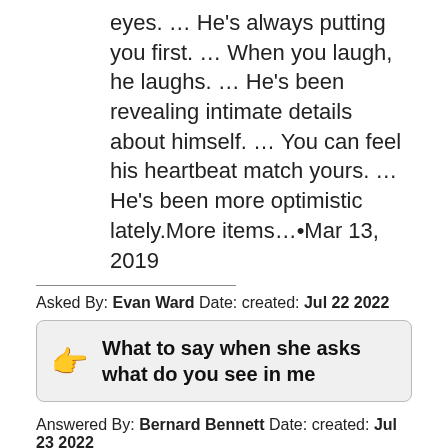eyes. … He's always putting you first. … When you laugh, he laughs. … He's been revealing intimate details about himself. … You can feel his heartbeat match yours. … He's been more optimistic lately.More items…•Mar 13, 2019
Asked By: Evan Ward Date: created: Jul 22 2022
What to say when she asks what do you see in me
Answered By: Bernard Bennett Date: created: Jul 23 2022
Just tell her the trurh.Tell her what caught your eye in the first place. What made you think she was attractive? … Tell her why that grew into something